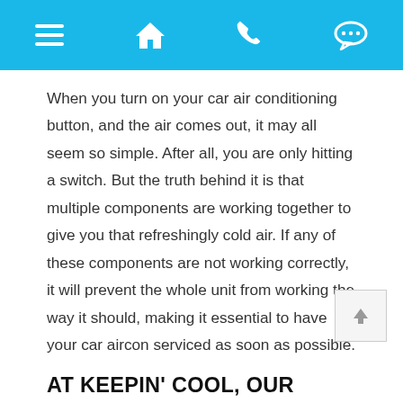[Navigation bar with menu, home, phone, and chat icons]
When you turn on your car air conditioning button, and the air comes out, it may all seem so simple. After all, you are only hitting a switch. But the truth behind it is that multiple components are working together to give you that refreshingly cold air. If any of these components are not working correctly, it will prevent the whole unit from working the way it should, making it essential to have your car aircon serviced as soon as possible.
AT KEEPIN' COOL, OUR FULLY QUALIFIED AIR